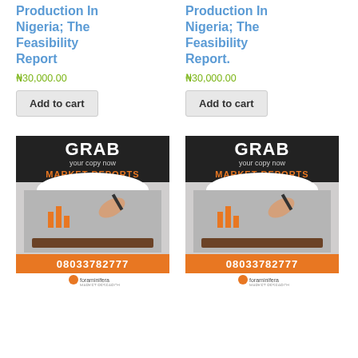Production In Nigeria; The Feasibility Report
₦30,000.00
Add to cart
Production In Nigeria; The Feasibility Report.
₦30,000.00
Add to cart
[Figure (illustration): Advertisement banner: GRAB your copy now MARKET REPORTS, phone number 08033782777, foraminifera market research logo]
[Figure (illustration): Advertisement banner: GRAB your copy now MARKET REPORTS, phone number 08033782777, foraminifera market research logo]